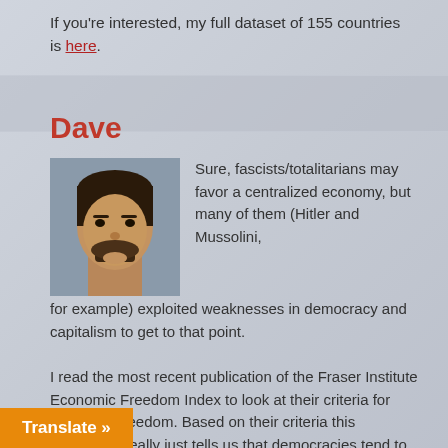If you're interested, my full dataset of 155 countries is here.
Dave
Sure, fascists/totalitarians may favor a centralized economy, but many of them (Hitler and Mussolini, for example) exploited weaknesses in democracy and capitalism to get to that point.
I read the most recent publication of the Fraser Institute Economic Freedom Index to look at their criteria for economic freedom. Based on their criteria this correlation really just tells us that democracies tend to support capitalism, or at least a business friendly environment.
Translate »